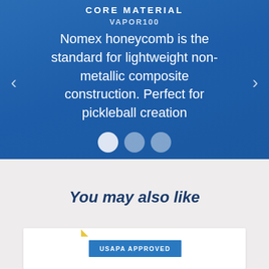CORE MATERIAL
VAPOR100
Nomex honeycomb is the standard for lightweight non-metallic composite construction. Perfect for pickleball creation
[Figure (other): Carousel navigation dots: three circles, first is white/active, second and third are semi-transparent/inactive. Left and right arrow navigation buttons on either side.]
You may also like
[Figure (other): Product card with USAPA APPROVED badge in blue, white background card, small yellow corner accent.]